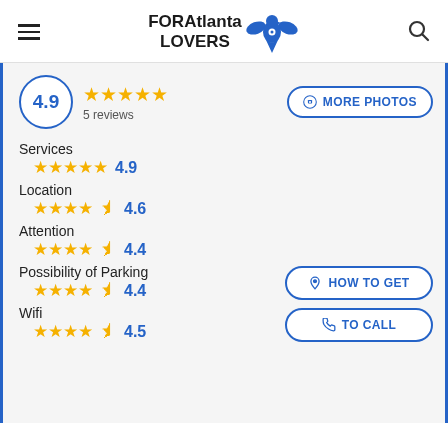[Figure (logo): FORAtlanta LOVERS logo with blue eagle/bird icon]
4.9  ★★★★★  5 reviews
📷 MORE PHOTOS
Services  ★★★★★  4.9
Location  ★★★★½  4.6
Attention  ★★★★½  4.4
Possibility of Parking  ★★★★½  4.4
Wifi  ★★★★½  4.5
📍 HOW TO GET
📞 TO CALL